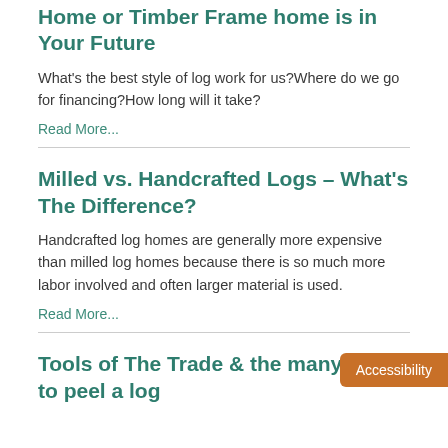Home or Timber Frame home is in Your Future
What's the best style of log work for us?Where do we go for financing?How long will it take?
Read More...
Milled vs. Handcrafted Logs – What's The Difference?
Handcrafted log homes are generally more expensive than milled log homes because there is so much more labor involved and often larger material is used.
Read More...
Tools of The Trade & the many ways to peel a log